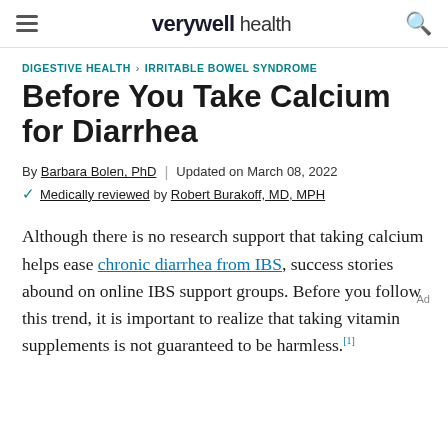verywell health
DIGESTIVE HEALTH > IRRITABLE BOWEL SYNDROME
Before You Take Calcium for Diarrhea
By Barbara Bolen, PhD | Updated on March 08, 2022
✓ Medically reviewed by Robert Burakoff, MD, MPH
Although there is no research support that taking calcium helps ease chronic diarrhea from IBS, success stories abound on online IBS support groups. Before you follow this trend, it is important to realize that taking vitamin supplements is not guaranteed to be harmless.[1]